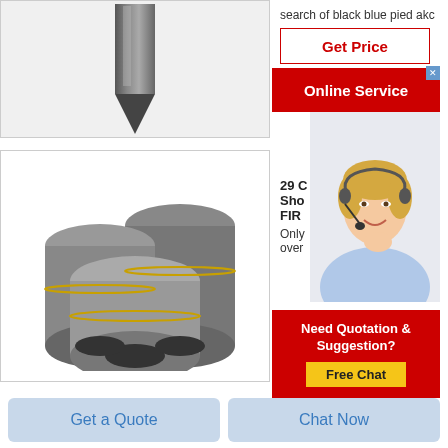[Figure (photo): Product photo of a dark graphite pointed stake/rod against white background]
search of black blue pied akc
Get Price
Online Service
[Figure (photo): Customer service agent woman with headset smiling]
[Figure (photo): Three large graphite electrode cylinders stacked together on white background]
29 C
Sho
FIR
Only
over
Need Quotation & Suggestion?
Free Chat
Get a Quote
Chat Now